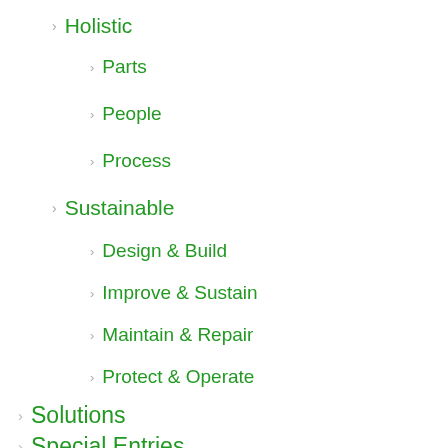Holistic
Parts
People
Process
Sustainable
Design & Build
Improve & Sustain
Maintain & Repair
Protect & Operate
Solutions
Special Entries